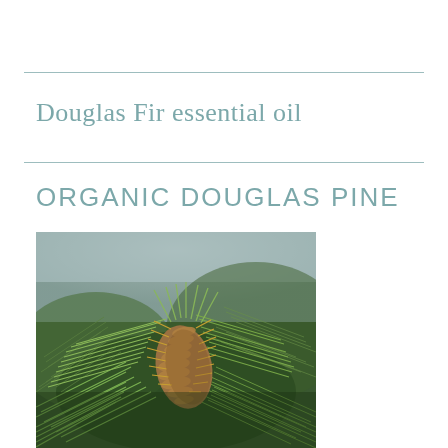Douglas Fir essential oil
ORGANIC DOUGLAS PINE
[Figure (photo): Close-up photograph of a Douglas Fir pine cone and needle branches with green needles and a brownish-tan cone with protruding bracts, set against a blurred forest background.]